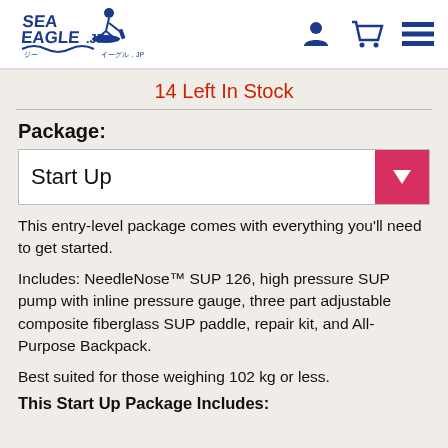[Figure (logo): Sea Eagle JP logo with stylized wave and paddler, blue text]
14 Left In Stock
Package:
Start Up
This entry-level package comes with everything you'll need to get started.
Includes: NeedleNose™ SUP 126, high pressure SUP pump with inline pressure gauge, three part adjustable composite fiberglass SUP paddle, repair kit, and All-Purpose Backpack.
Best suited for those weighing 102 kg or less.
This Start Up Package Includes: